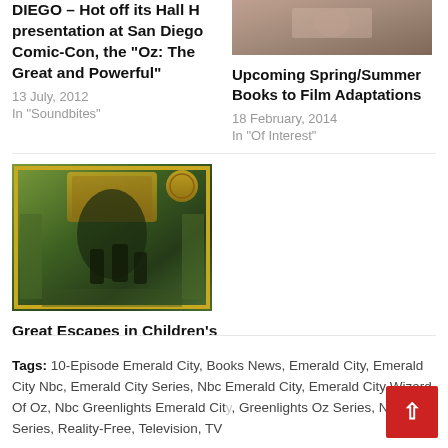DIEGO – Hot off its Hall H presentation at San Diego Comic-Con, the "Oz: The Great and Powerful"
13 July, 2012
In "Soundbites"
[Figure (photo): Thumbnail image for article about Upcoming Spring/Summer Books to Film Adaptations]
Upcoming Spring/Summer Books to Film Adaptations
18 February, 2014
In "Of Interest"
[Figure (photo): Dark green-tinted image with gold frame and archway, silhouetted figures, related to Great Escapes in Children's Literature]
Great Escapes in Children's Literature
24 April, 2013
In "Of Interest"
Tags: 10-Episode Emerald City, Books News, Emerald City, Emerald City Nbc, Emerald City Series, Nbc Emerald City, Emerald City Wizard Of Oz, Nbc Greenlights Emerald City, Greenlights Oz Series, Nbc Oz Series, Reality-Free, Television, TV